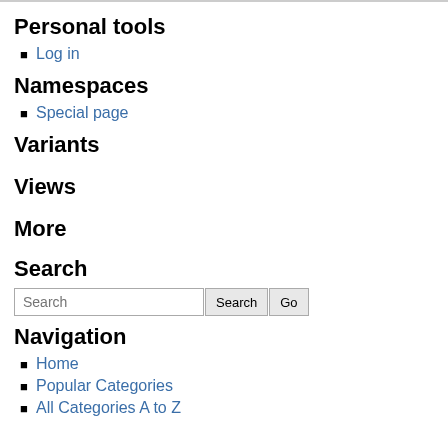Personal tools
Log in
Namespaces
Special page
Variants
Views
More
Search
Search [search box] Search Go
Navigation
Home
Popular Categories
All Categories A to Z